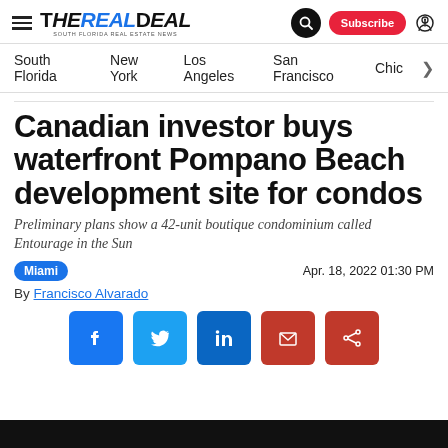The Real Deal — South Florida Real Estate News | Search | Subscribe
South Florida  New York  Los Angeles  San Francisco  Chic >
Canadian investor buys waterfront Pompano Beach development site for condos
Preliminary plans show a 42-unit boutique condominium called Entourage in the Sun
Miami   Apr. 18, 2022 01:30 PM
By Francisco Alvarado
[Figure (infographic): Social share buttons: Facebook, Twitter, LinkedIn, Email, Share]
[Figure (photo): Dark image strip at the bottom of the page]